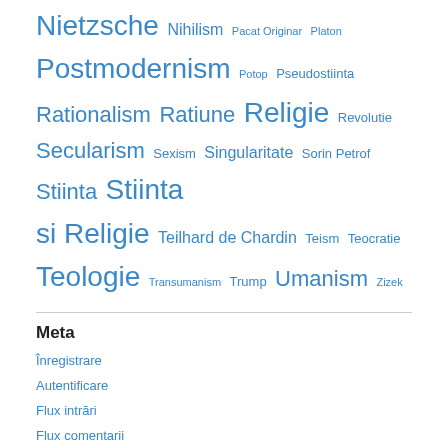Nietzsche Nihilism Pacat Originar Platon Postmodernism Potop Pseudostiinta Rationalism Ratiune Religie Revolutie Secularism Sexism Singularitate Sorin Petrof Stiinta Stiinta si Religie Teilhard de Chardin Teism Teocratie Teologie Transumanism Trump Umanism Zizek
Meta
Înregistrare
Autentificare
Flux intrări
Flux comentarii
WordPress.com
Arhiva